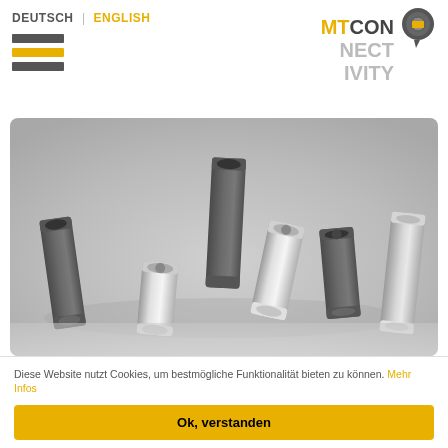DEUTSCH | ENGLISH
[Figure (logo): MTCONNECTIVITY logo with circular speech bubble icon in dark grey and yellow]
[Figure (photo): Product photo of multiple hexagonal and round spacer bolts/standoffs in silver and dark grey, arranged on a grey gradient background]
Diese Website nutzt Cookies, um bestmögliche Funktionalität bieten zu können. Mehr Infos
Ok, verstanden